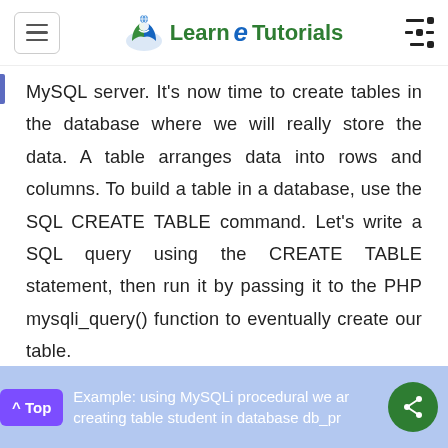Learn e Tutorials
MySQL server. It's now time to create tables in the database where we will really store the data. A table arranges data into rows and columns. To build a table in a database, use the SQL CREATE TABLE command. Let's write a SQL query using the CREATE TABLE statement, then run it by passing it to the PHP mysqli_query() function to eventually create our table.
Example: using MySQLi procedural we are creating table student in database db_pr...